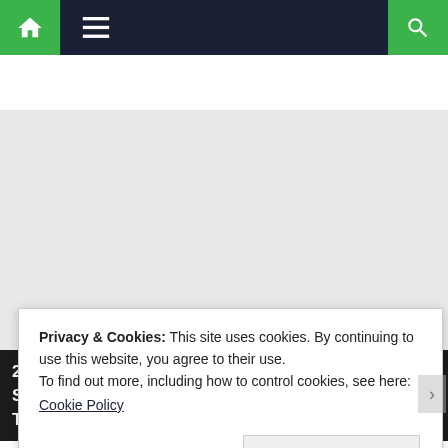[Figure (screenshot): Website navigation bar with green home icon on left, hamburger menu, dark navy center, and green search icon on right]
[Figure (map): Embedded map area showing a light grey placeholder map]
225/349 Country Complex, Building B, 18th floor, Sanphawut road, Bang Na, Bangkok 10260, Thailand
Privacy & Cookies: This site uses cookies. By continuing to use this website, you agree to their use.
To find out more, including how to control cookies, see here:
Cookie Policy
Close and accept